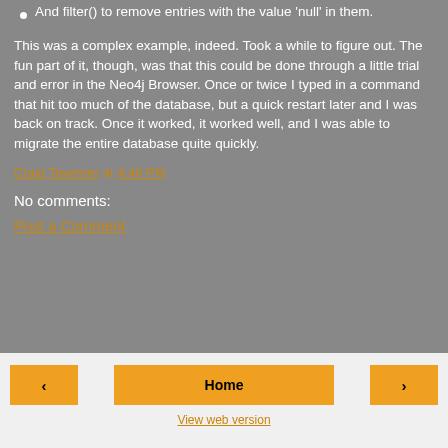And filter() to remove entries with the value 'null' in them.
This was a complex example, indeed. Took a while to figure out. The fun part of it, though, was that this could be done through a little trial and error in the Neo4j Browser. Once or twice I typed in a command that hit too much of the database, but a quick restart later and I was back on track. Once it worked, it worked well, and I was able to migrate the entire database quite quickly.
Craig Taverner at 4:48 PM
No comments:
Post a Comment
Home | View web version